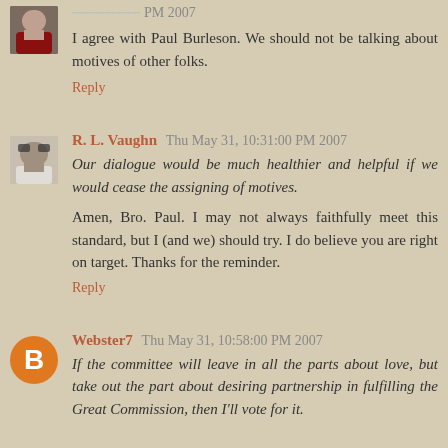PM 2007
I agree with Paul Burleson. We should not be talking about motives of other folks.
Reply
R. L. Vaughn  Thu May 31, 10:31:00 PM 2007
Our dialogue would be much healthier and helpful if we would cease the assigning of motives.
Amen, Bro. Paul. I may not always faithfully meet this standard, but I (and we) should try. I do believe you are right on target. Thanks for the reminder.
Reply
Webster7  Thu May 31, 10:58:00 PM 2007
If the committee will leave in all the parts about love, but take out the part about desiring partnership in fulfilling the Great Commission, then I'll vote for it.